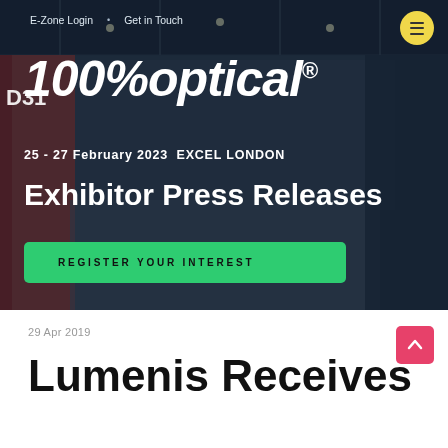E-Zone Login · Get in Touch
[Figure (photo): Hero banner image of 100% Optical trade show with crowd of visitors in exhibition hall. Dark overlay with logo and event details.]
100%optical®
25 - 27 February 2023  EXCEL LONDON
Exhibitor Press Releases
REGISTER YOUR INTEREST
29 Apr 2019
Lumenis Receives